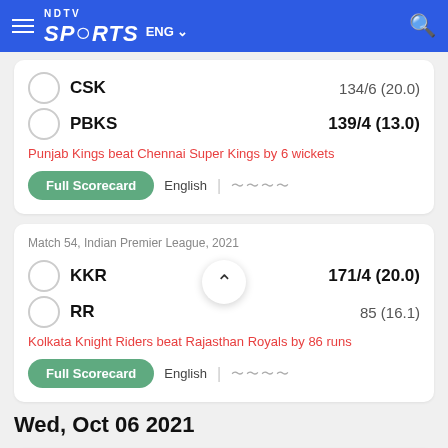NDTV Sports ENG
CSK  134/6 (20.0)
PBKS  139/4 (13.0)
Punjab Kings beat Chennai Super Kings by 6 wickets
Full Scorecard  English
Match 54, Indian Premier League, 2021
KKR  171/4 (20.0)
RR  85 (16.1)
Kolkata Knight Riders beat Rajasthan Royals by 86 runs
Full Scorecard  English
Wed, Oct 06 2021